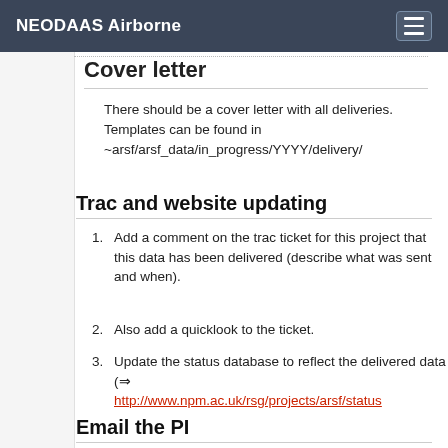NEODAAS Airborne
Cover letter
There should be a cover letter with all deliveries. Templates can be found in ~arsf/arsf_data/in_progress/YYYY/delivery/
Trac and website updating
Add a comment on the trac ticket for this project that this data has been delivered (describe what was sent and when).
Also add a quicklook to the ticket.
Update the status database to reflect the delivered data (⇒ http://www.npm.ac.uk/rsg/projects/arsf/status
Email the PI